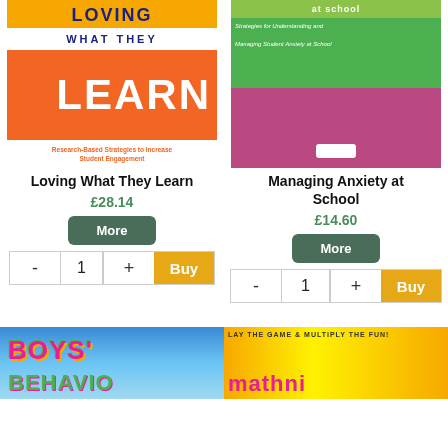[Figure (illustration): Book cover for 'Loving What They Learn' - orange and white cover with students and text 'LOVING WHAT THEY LEARN, Research-Based Strategies to Increase Student Engagement']
Loving What They Learn
£28.14
[Figure (illustration): Book cover for 'Managing Anxiety at School' - colorful cover showing student with items scattered around, pink and green background]
Managing Anxiety at School
£14.60
[Figure (illustration): Bottom left partial book cover - Boys' Behaviour, blue gradient background with colorful text]
[Figure (illustration): Bottom right partial book cover - yellow background with text 'PLAY THE GAME & MULTIPLY THE FUN!' and colorful logo]